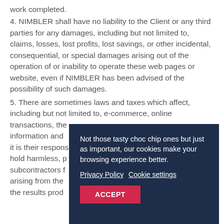work completed.
4. NIMBLER shall have no liability to the Client or any third parties for any damages, including but not limited to, claims, losses, lost profits, lost savings, or other incidental, consequential, or special damages arising out of the operation of or inability to operate these web pages or website, even if NIMBLER has been advised of the possibility of such damages.
5. There are sometimes laws and taxes which affect, including but not limited to, e-commerce, online transactions, the information and it is their responsibility hold harmless, p subcontractors f arising from the the results prod
Not those tasty choc chip ones but just as important, our cookies make your browsing experience better.

Privacy Policy  Cookie settings

ACCEPT